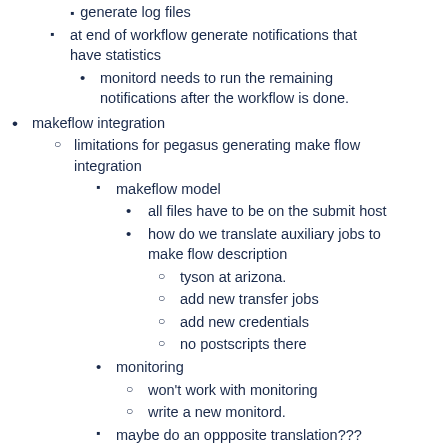at end of workflow generate notifications that have statistics
monitord needs to run the remaining notifications after the workflow is done.
makeflow integration
limitations for pegasus generating make flow integration
makeflow model
all files have to be on the submit host
how do we translate auxiliary jobs to make flow description
tyson at arizona.
add new transfer jobs
add new credentials
no postscripts there
monitoring
won't work with monitoring
write a new monitord.
maybe do an oppposite translation???
what will be useful is to integrate with using work queue with our own dagman manager.